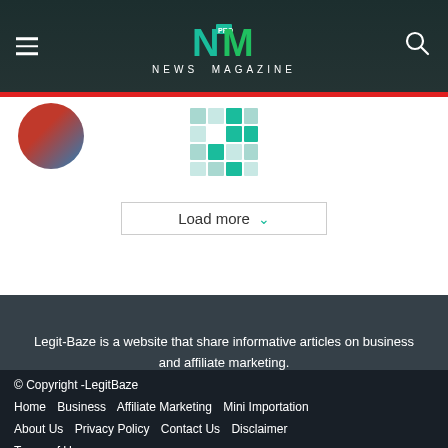NEWS MAGAZINE
[Figure (logo): NM PRO News Magazine logo with teal and green lettering on dark background]
[Figure (other): Loading spinner animation with teal/green tiles pattern]
Load more
Legit-Baze is a website that share informative articles on business and affiliate marketing.
[Figure (other): Social media icons row: Facebook, Instagram, LinkedIn, Pinterest, Tumblr, Twitter]
© Copyright -LegitBaze
Home   Business   Affiliate Marketing   Mini Importation   About Us   Privacy Policy   Contact Us   Disclaimer   Terms of Use